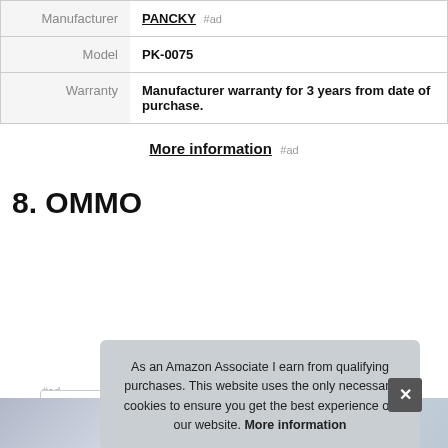| Manufacturer | PANCKY #ad |
| Model | PK-0075 |
| Warranty | Manufacturer warranty for 3 years from date of purchase. |
More information #ad
8. OMMO
#ad
As an Amazon Associate I earn from qualifying purchases. This website uses the only necessary cookies to ensure you get the best experience on our website. More information
[Figure (photo): Product image strip at bottom of page showing OMMO product and water splash]